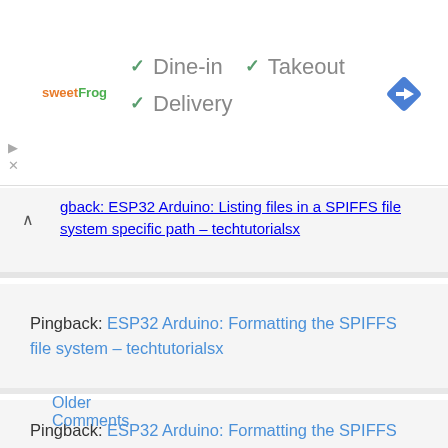[Figure (logo): sweetFrog logo in orange and green text]
✓ Dine-in  ✓ Takeout  ✓ Delivery
[Figure (other): Blue diamond navigation/directions icon]
gback: ESP32 Arduino: Listing files in a SPIFFS file system specific path – techtutorialsx
Pingback: ESP32 Arduino: Formatting the SPIFFS file system – techtutorialsx
Pingback: ESP32 Arduino: Formatting the SPIFFS file system – techtutorialsx
Older Comments